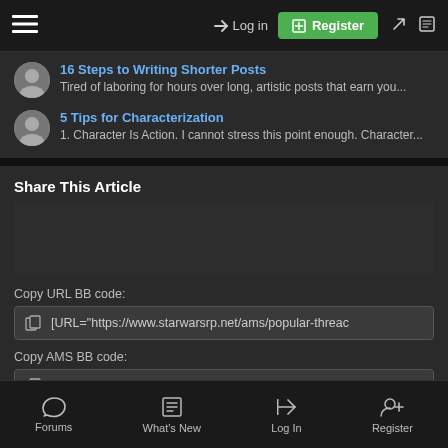Log in | Register
16 Steps to Writing Shorter Posts
Tired of laboring for hours over long, artistic posts that earn you...
5 Tips for Characterization
1. Character Is Action. I cannot stress this point enough. Character...
Share This Article
Copy URL BB code:
[URL="https://www.starwarsrp.net/ams/popular-threac
Copy AMS BB code:
[AMS=article, 2378][/AMS]
Forums | What's New | Log In | Register